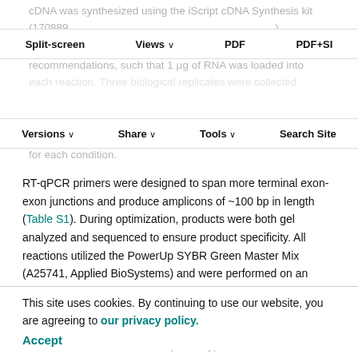cDNA was synthesized using the iScript cDNA Synthesis kit (170889...) following the manufacturer's recommendations, such that 1 μg of RNA was loaded into each reaction. Three biological replicates were collected for each condition.
Split-screen | Views | PDF | PDF+SI
Versions | Share | Tools | Search Site
RT-qPCR primers were designed to span more terminal exon-exon junctions and produce amplicons of ~100 bp in length (Table S1). During optimization, products were both gel analyzed and sequenced to ensure product specificity. All reactions utilized the PowerUp SYBR Green Master Mix (A25741, Applied BioSystems) and were performed on an Applied BioSystems 7900HT instrument. Efficiency (E) was
calculated using a four-point standard curve and optimized to be ~2.0 (Arce, 2022). Wild-type 24 hpf cDNA was used to calculate efficiencies for nid1a, nid1b and nid2a, whereas a 1:1 mixture of 24 hpf wild-type and MZnid1b
This site uses cookies. By continuing to use our website, you are agreeing to our privacy policy. Accept